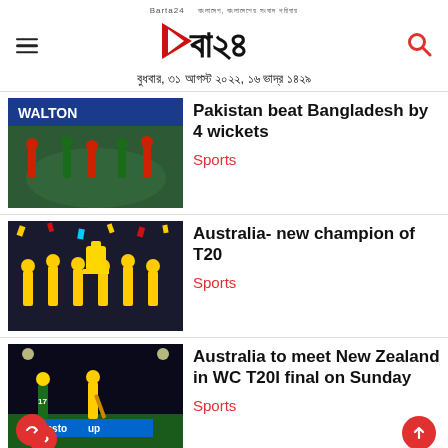Barta24 — বুধবার, ৩১ আগস্ট ২০২২, ১৬ ভাদ্র ১৪২৯
[Figure (photo): Cricket players on field, Pakistan vs Bangladesh match. WALTON signage visible.]
Pakistan beat Bangladesh by 4 wickets
Sports
[Figure (photo): Australia cricket team celebrating T20 World Cup victory with trophy and confetti.]
Australia- new champion of T20
Sports
[Figure (photo): Cricket match at night, batsman celebrating with partner, Upstox logo on boundary.]
Australia to meet New Zealand in WC T20I final on Sunday
Sports